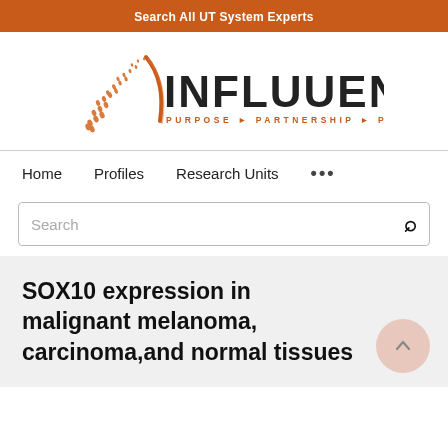Search All UT System Experts
[Figure (logo): Influuent logo with orange geometric shape and text 'INFLUUENT PURPOSE ► PARTNERSHIP ► PROGRESS']
Home   Profiles   Research Units   ...
Search
SOX10 expression in malignant melanoma, carcinoma,and normal tissues